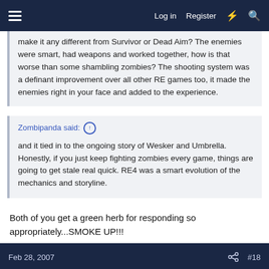Log in  Register
make it any different from Survivor or Dead Aim? The enemies were smart, had weapons and worked together, how is that worse than some shambling zombies? The shooting system was a definant improvement over all other RE games too, it made the enemies right in your face and added to the experience.
Zombipanda said: ↑

and it tied in to the ongoing story of Wesker and Umbrella. Honestly, if you just keep fighting zombies every game, things are going to get stale real quick. RE4 was a smart evolution of the mechanics and storyline.
Both of you get a green herb for responding so appropriately...SMOKE UP!!!
Feb 28, 2007  #18
Iceshadow